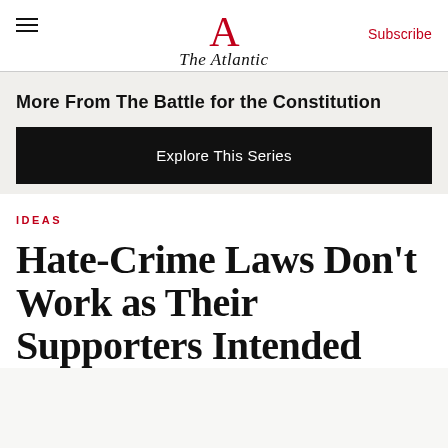The Atlantic | Subscribe
More From The Battle for the Constitution
Explore This Series
IDEAS
Hate-Crime Laws Don’t Work as Their Supporters Intended